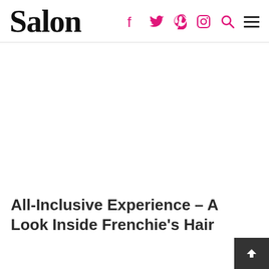Salon
[Figure (other): White/blank advertisement space below the navigation header]
All-Inclusive Experience – A Look Inside Frenchie's Hair